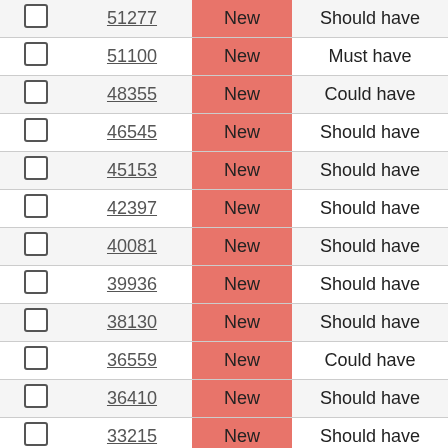|  | ID | State | Priority |
| --- | --- | --- | --- |
| ☐ | 51277 | New | Should have |
| ☐ | 51100 | New | Must have |
| ☐ | 48355 | New | Could have |
| ☐ | 46545 | New | Should have |
| ☐ | 45153 | New | Should have |
| ☐ | 42397 | New | Should have |
| ☐ | 40081 | New | Should have |
| ☐ | 39936 | New | Should have |
| ☐ | 38130 | New | Should have |
| ☐ | 36559 | New | Could have |
| ☐ | 36410 | New | Should have |
| ☐ | 33215 | New | Should have |